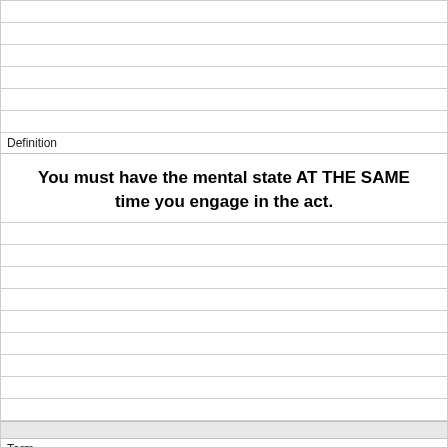Definition
You must have the mental state AT THE SAME time you engage in the act.
Term
What is criminal battery?